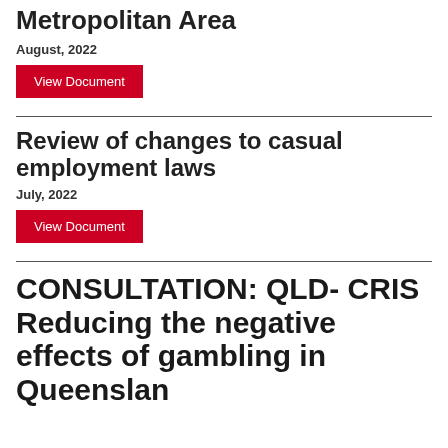Metropolitan Area
August, 2022
View Document
Review of changes to casual employment laws
July, 2022
View Document
CONSULTATION: QLD- CRIS Reducing the negative effects of gambling in Queensland